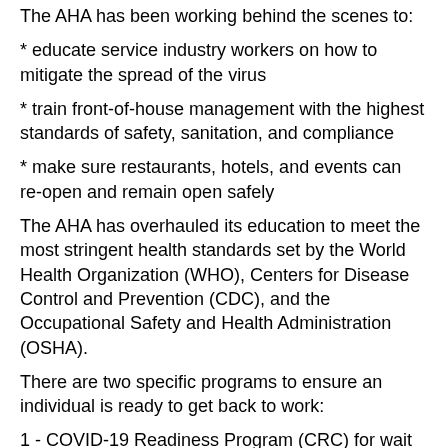The AHA has been working behind the scenes to:
* educate service industry workers on how to mitigate the spread of the virus
* train front-of-house management with the highest standards of safety, sanitation, and compliance
* make sure restaurants, hotels, and events can re-open and remain open safely
The AHA has overhauled its education to meet the most stringent health standards set by the World Health Organization (WHO), Centers for Disease Control and Prevention (CDC), and the Occupational Safety and Health Administration (OSHA).
There are two specific programs to ensure an individual is ready to get back to work:
1 - COVID-19 Readiness Program (CRC) for wait staff and servers